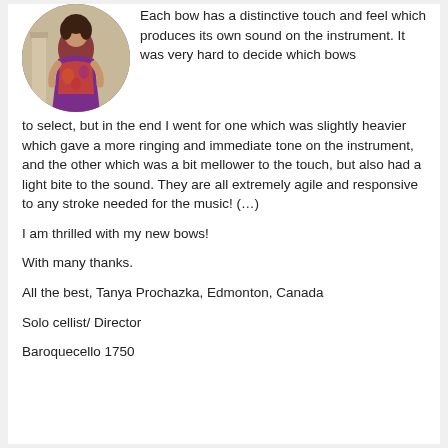[Figure (photo): Circular cropped photo of a person wearing a colorful floral dress, standing near architectural columns.]
Each bow has a distinctive touch and feel which produces its own sound on the instrument. It was very hard to decide which bows to select, but in the end I went for one which was slightly heavier which gave a more ringing and immediate tone on the instrument, and the other which was a bit mellower to the touch, but also had a light bite to the sound. They are all extremely agile and responsive to any stroke needed for the music! (…)
I am thrilled with my new bows!
With many thanks.
All the best, Tanya Prochazka, Edmonton, Canada
Solo cellist/ Director
Baroquecello 1750